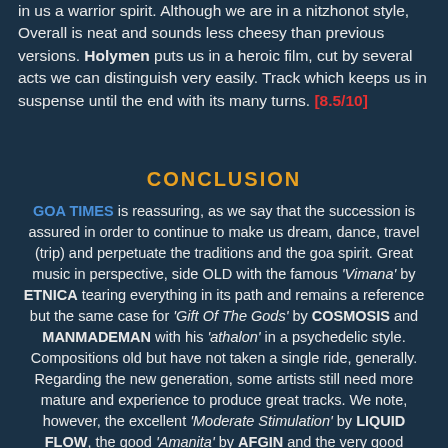in us a warrior spirit. Although we are in a nitzhonot style, Overall is neat and sounds less cheesy than previous versions. Holymen puts us in a heroic film, cut by several acts we can distinguish very easily. Track which keeps us in suspense until the end with its many turns. [8.5/10]
CONCLUSION
GOA TIMES is reassuring, as we say that the succession is assured in order to continue to make us dream, dance, travel (trip) and perpetuate the traditions and the goa spirit. Great music in perspective, side OLD with the famous 'Vimana' by ETNICA tearing everything in its path and remains a reference but the same case for 'Gift Of The Gods' by COSMOSIS and MANMADEMAN with his 'athalon' in a psychedelic style. Compositions old but have not taken a single ride, generally. Regarding the new generation, some artists still need more mature and experience to produce great tracks. We note, however, the excellent 'Moderate Stimulation' by LIQUID FLOW, the good 'Amanita' by AFGIN and the very good 'Namaskara Mudra' by ASTRANCER.